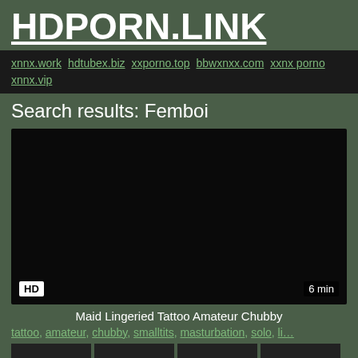HDPORN.LINK
xnnx.work hdtubex.biz xxporno.top bbwxnxx.com xxnx porno xnnx.vip
Search results: Femboi
[Figure (screenshot): Dark black video thumbnail with HD badge in bottom left and '6 min' duration label in bottom right]
Maid Lingeried Tattoo Amateur Chubby
tattoo, amateur, chubby, smalltits, masturbation, solo, li…